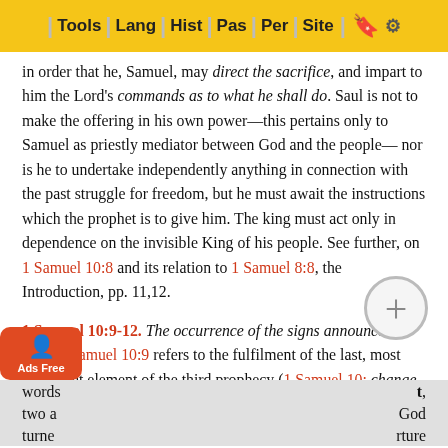Tools | Lang | Hist | Pas | Per | Site
in order that he, Samuel, may direct the sacrifice, and impart to him the Lord's commands as to what he shall do. Saul is not to make the offering in his own power—this pertains only to Samuel as priestly mediator between God and the people—nor is he to undertake independently anything in connection with the past struggle for freedom, but he must await the instructions which the prophet is to give him. The king must act only in dependence on the invisible King of his people. See further, on 1 Samuel 10:8 and its relation to 1 Samuel 8:8, the Introduction, pp. 11,12.
1 Samuel 10:9-12.
The occurrence of the signs announced to Saul. 1 Samuel 10:9 refers to the fulfilment of the last, most important element of the third prophecy (1 Samuel 10: ...change into another man. Not only the fact of this ...wal, but also its innermost source is indicated in the words... t, two a... God turne... rture